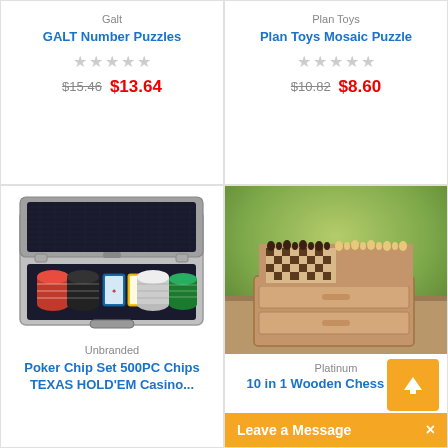Galt
GALT Number Puzzles
★★★★★
$15.46  $13.64
Plan Toys
Plan Toys Mosaic Puzzle
★★★★★
$10.82  $8.60
[Figure (photo): Open aluminum poker chip case containing red, black, white, and green poker chips with two decks of cards, viewed from above]
Unbranded
Poker Chip Set 500PC Chips TEXAS HOLD'EM Casino...
[Figure (photo): Wooden chess board set with chess pieces displayed on top, featuring two open drawers, placed on a wooden table with green bokeh background]
Platinum
10 in 1 Wooden Chess Board
Leave a Message  ×